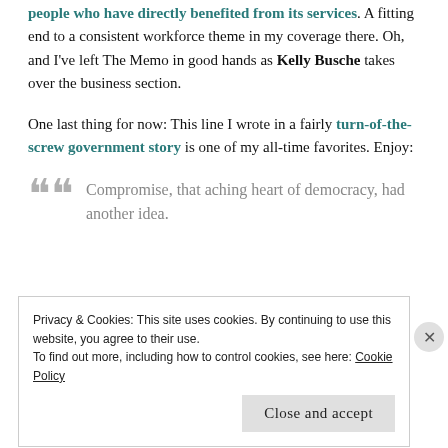people who have directly benefited from its services. A fitting end to a consistent workforce theme in my coverage there. Oh, and I've left The Memo in good hands as Kelly Busche takes over the business section.
One last thing for now: This line I wrote in a fairly turn-of-the-screw government story is one of my all-time favorites. Enjoy:
Compromise, that aching heart of democracy, had another idea.
Privacy & Cookies: This site uses cookies. By continuing to use this website, you agree to their use.
To find out more, including how to control cookies, see here: Cookie Policy
Close and accept